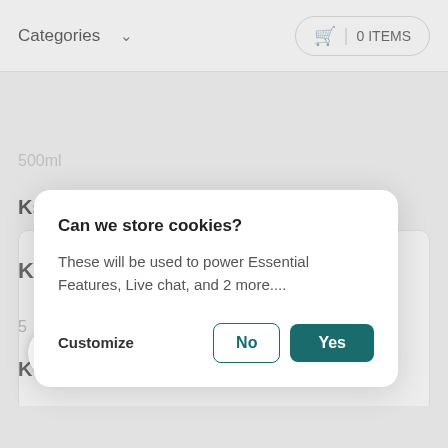Categories   ∨   🛒 | 0 ITEMS
500ml
Ksh150
Can we store cookies?

These will be used to power Essential Features, Live chat, and 2 more....
Customize   No   Yes